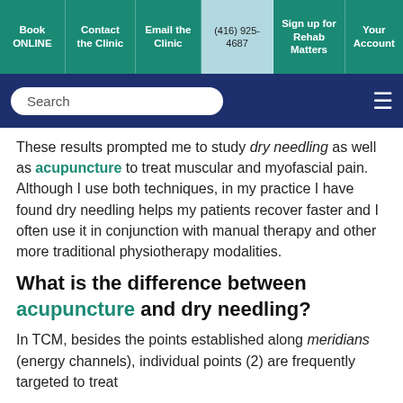Book ONLINE | Contact the Clinic | Email the Clinic | (416) 925-4687 | Sign up for Rehab Matters | Your Account
These results prompted me to study dry needling as well as acupuncture to treat muscular and myofascial pain. Although I use both techniques, in my practice I have found dry needling helps my patients recover faster and I often use it in conjunction with manual therapy and other more traditional physiotherapy modalities.
What is the difference between acupuncture and dry needling?
In TCM, besides the points established along meridians (energy channels), individual points (2) are frequently targeted to treat